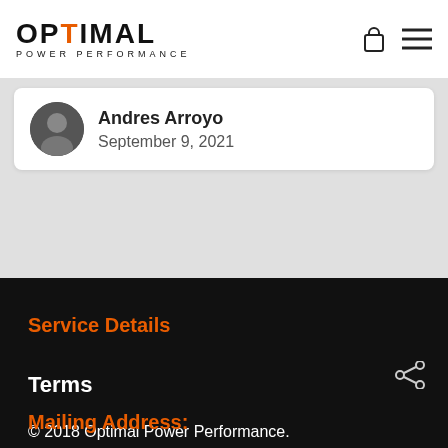OPTiMAL POWER PERFORMANCE
Andres Arroyo
September 9, 2021
Service Details
Terms
© 2018 Optimal Power Performance.
Mailing Address: